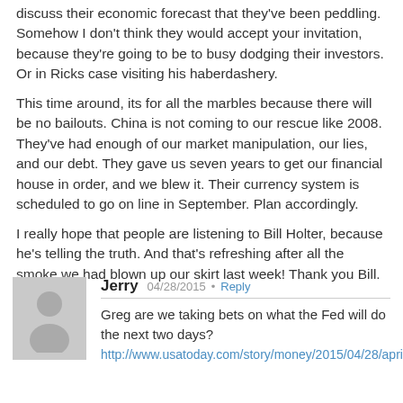discuss their economic forecast that they've been peddling. Somehow I don't think they would accept your invitation, because they're going to be to busy dodging their investors. Or in Ricks case visiting his haberdashery.
This time around, its for all the marbles because there will be no bailouts. China is not coming to our rescue like 2008. They've had enough of our market manipulation, our lies, and our debt. They gave us seven years to get our financial house in order, and we blew it. Their currency system is scheduled to go on line in September. Plan accordingly.
I really hope that people are listening to Bill Holter, because he's telling the truth. And that's refreshing after all the smoke we had blown up our skirt last week! Thank you Bill.
[Figure (illustration): Grey avatar/profile placeholder icon showing a silhouette of a person]
Jerry  04/28/2015 • Reply
Greg are we taking bets on what the Fed will do the next two days?
http://www.usatoday.com/story/money/2015/04/28/april-